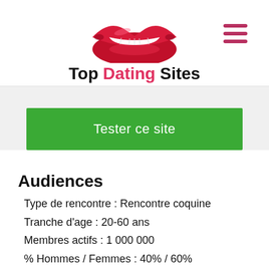[Figure (logo): Red lips icon above 'Top Dating Sites' logo text with hamburger menu icon on the right]
Tester ce site
Audiences
Type de rencontre : Rencontre coquine
Tranche d'age : 20-60 ans
Membres actifs : 1 000 000
% Hommes / Femmes : 40% / 60%